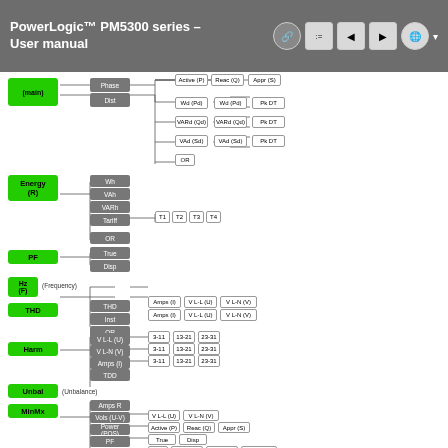PowerLogic™ PM5300 series – User manual
[Figure (flowchart): Menu navigation flowchart for PowerLogic PM5300 series showing hierarchical menu structure with categories: Energy (R), PF, Hz (F), THD, Harm, Unbal, MinMx, Alarm. Each category branches into subcategories and measurement types including Phase/Dist, Wh/VAh/VARh/Tariff, True/Disp, THD/Inst, V L-L/V L-N/Amps, Unbalance, Amps R/Vola/Power/PF/Hz/THD/Unbal, Active/Hist/Count.]